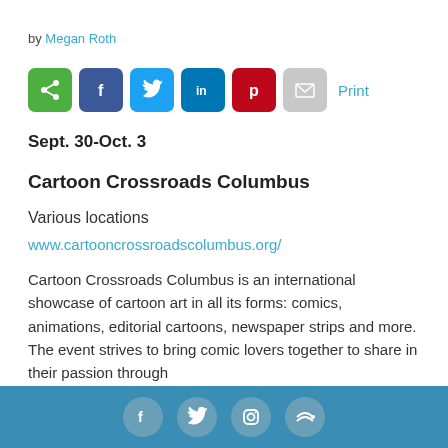by Megan Roth
[Figure (infographic): Social share buttons: share (green), Facebook (blue), Twitter (light blue), LinkedIn (dark blue), Pinterest (red), email (gray), and a Print link]
Sept. 30-Oct. 3
Cartoon Crossroads Columbus
Various locations
www.cartooncrossroadscolumbus.org/
Cartoon Crossroads Columbus is an international showcase of cartoon art in all its forms: comics, animations, editorial cartoons, newspaper strips and more. The event strives to bring comic lovers together to share in their passion through
[Figure (infographic): Footer bar with social media icons: Facebook, Twitter, Instagram, RSS feed]